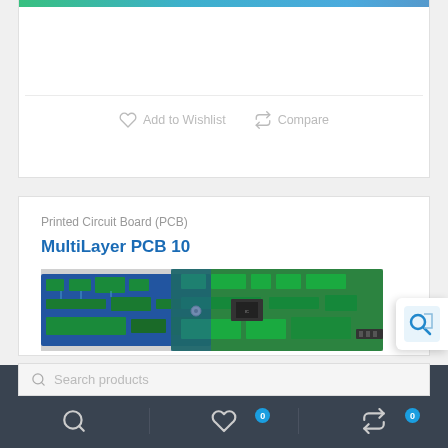[Figure (screenshot): Partial top of a product card showing a PCB image strip at the top, whitespace, a horizontal divider, and action buttons.]
Add to Wishlist
Compare
Printed Circuit Board (PCB)
MultiLayer PCB 10
[Figure (photo): Photo of multiple multilayer PCBs (green and blue circuit boards) overlapping on a gray surface.]
Search products
[Figure (infographic): Mobile app bottom navigation bar with search, wishlist (badge:0), and compare (badge:0) icons on dark background.]